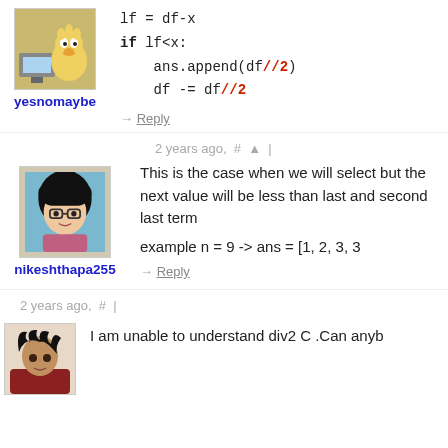lf = df-x
if lf<x:
    ans.append(df//2)
    df -= df//2
yesnomaybe
→ Reply
2 years ago, # ^ |
This is the case when we will sele... but the next value will be less tha... last and second last term
nikeshthapa255
example n = 9 -> ans = [1, 2, 3, 3...
→ Reply
2 years ago, # |
I am unable to understand div2 C .Can anyb...